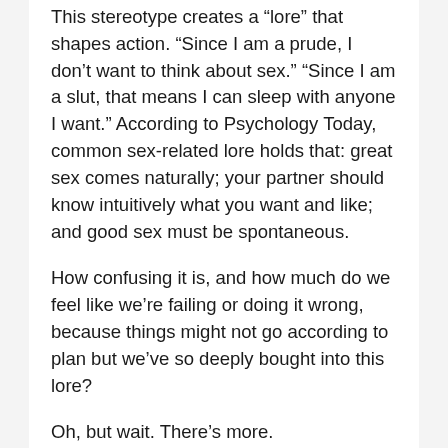This stereotype creates a “lore” that shapes action. “Since I am a prude, I don’t want to think about sex.” “Since I am a slut, that means I can sleep with anyone I want.” According to Psychology Today, common sex-related lore holds that: great sex comes naturally; your partner should know intuitively what you want and like; and good sex must be spontaneous.
How confusing it is, and how much do we feel like we’re failing or doing it wrong, because things might not go according to plan but we’ve so deeply bought into this lore?
Oh, but wait. There’s more.
Our personal lore plays into our “scripts”. Sexual scripts are heavily shaped by